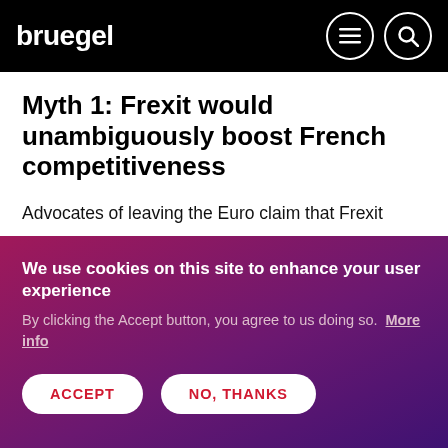bruegel
Myth 1: Frexit would unambiguously boost French competitiveness
Advocates of leaving the Euro claim that Frexit would provide a competitiveness boost to French exports and essentially solve two alleged problems: the persistent trade deficit and the decline in market share for French
We use cookies on this site to enhance your user experience
By clicking the Accept button, you agree to us doing so. More info
ACCEPT   NO, THANKS